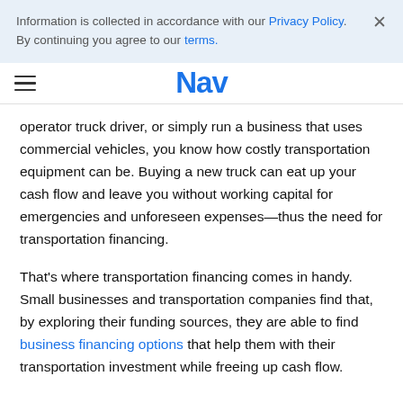Information is collected in accordance with our Privacy Policy. By continuing you agree to our terms.
Nav
operator truck driver, or simply run a business that uses commercial vehicles, you know how costly transportation equipment can be. Buying a new truck can eat up your cash flow and leave you without working capital for emergencies and unforeseen expenses—thus the need for transportation financing.
That's where transportation financing comes in handy. Small businesses and transportation companies find that, by exploring their funding sources, they are able to find business financing options that help them with their transportation investment while freeing up cash flow.